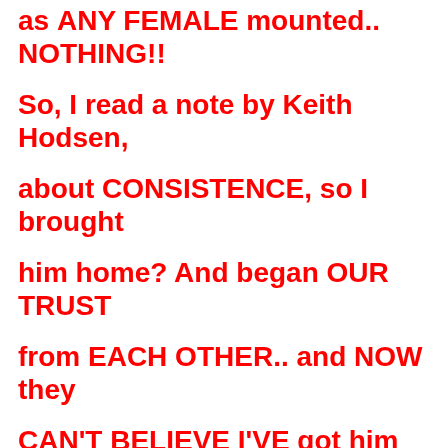as ANY FEMALE mounted.. NOTHING!! So, I read a note by Keith Hodsen, about CONSISTENCE, so I brought him home? And began OUR TRUST from EACH OTHER.. and NOW they CAN'T BELIEVE I'VE got him to go as FAR as we have?? Can YOU HELP?? Thank YOU for YOUR TIME. Paula